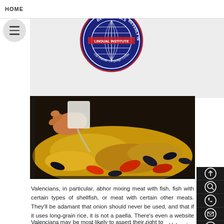HOME
[Figure (logo): Beverly Hills Lingual Institute circular logo with globe and text 'The Premier Language Center']
[Figure (photo): Close-up photo of paella being cooked in a pan, with yellow rice, red peppers, mussels, and a hand pouring liquid]
Valencians, in particular, abhor mixing meat with fish, fish with certain types of shellfish, or meat with certain other meats. They'll be adamant that onion should never be used, and that if it uses long-grain rice, it is not a paella. There's even a website - Wikipaella.org - launched to conduct a poll among Valencian housewives and restaurants on what ingredients should be used in authentic paella.
Valencians may be most likely to assert their right to